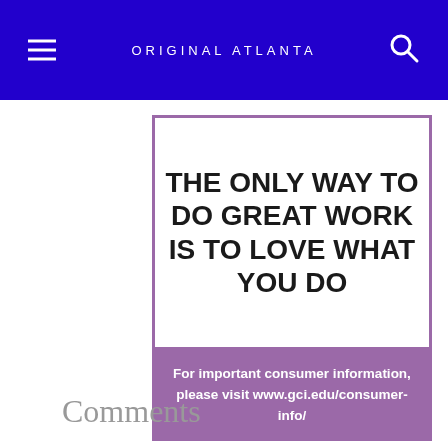ORIGINAL ATLANTA
[Figure (infographic): Motivational quote image with bold black text on white background reading 'THE ONLY WAY TO DO GREAT WORK IS TO LOVE WHAT YOU DO' with a purple border, and a purple banner below reading 'For important consumer information, please visit www.gci.edu/consumer-info/']
Comments